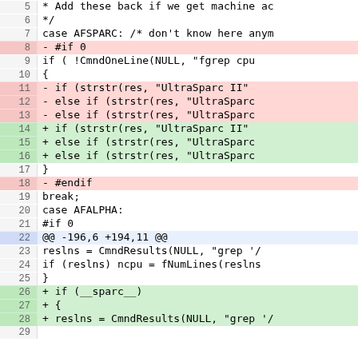[Figure (screenshot): Code diff view showing lines 5-28 of a C source file with line numbers, deleted lines highlighted in red/pink, added lines highlighted in green, and a diff hunk marker at line 22.]